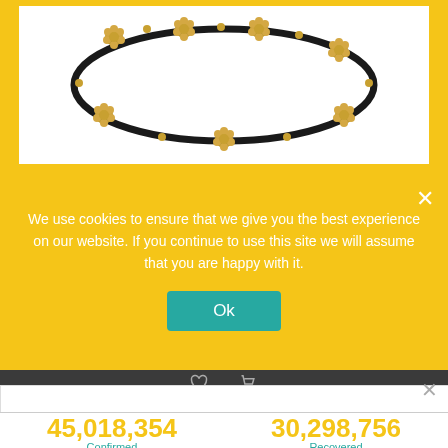[Figure (photo): Black cord bracelet/anklet with gold flower charms arranged in a circle on a white background]
We use cookies to ensure that we give you the best experience on our website. If you continue to use this site we will assume that you are happy with it.
Ok
Spread the message. Stop the virus.
HANDS
Wash often
ELBOW
Cough into
FACE
Don't touch
SPACE
Avoid crowds
HOME
Stay inside
45,018,354
Confirmed
30,298,756
Recovered